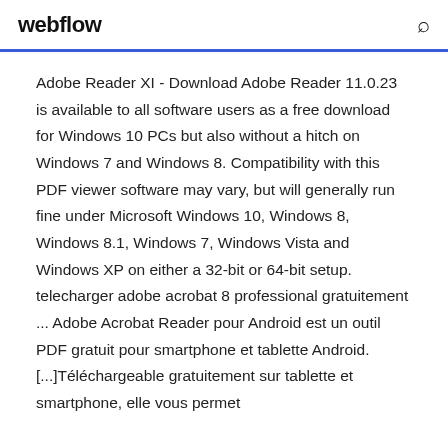webflow
Adobe Reader XI - Download Adobe Reader 11.0.23 is available to all software users as a free download for Windows 10 PCs but also without a hitch on Windows 7 and Windows 8. Compatibility with this PDF viewer software may vary, but will generally run fine under Microsoft Windows 10, Windows 8, Windows 8.1, Windows 7, Windows Vista and Windows XP on either a 32-bit or 64-bit setup. telecharger adobe acrobat 8 professional gratuitement ... Adobe Acrobat Reader pour Android est un outil PDF gratuit pour smartphone et tablette Android. [...]Téléchargeable gratuitement sur tablette et smartphone, elle vous permet